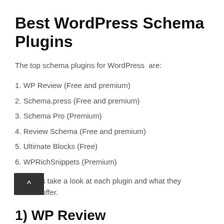Best WordPress Schema Plugins
The top schema plugins for WordPress  are:
1. WP Review (Free and premium)
2. Schema.press (Free and premium)
3. Schema Pro (Premium)
4. Review Schema (Free and premium)
5. Ultimate Blocks (Free)
6. WPRichSnippets (Premium)
Now let's take a look at each plugin and what they have to offer.
1) WP Review